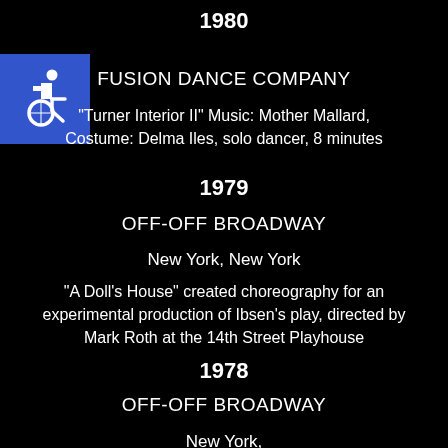1980
[Figure (illustration): Accessibility/wheelchair icon — white wheelchair symbol on blue square background]
FUSION DANCE COMPANY
“Turner Interior II” Music: Mother Mallard, Costume: Delma Iles, solo dancer, 8 minutes
1979
OFF-OFF BROADWAY
New York, New York
“A Doll’s House” created choreography for an experimental production of Ibsen’s play, directed by Mark Roth at the 14th Street Playhouse
1978
OFF-OFF BROADWAY
New York,